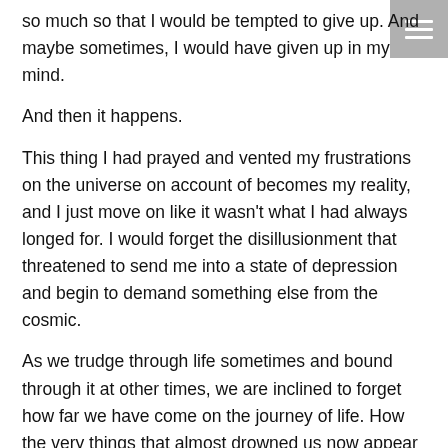so much so that I would be tempted to give up. And maybe sometimes, I would have given up in my mind.
And then it happens.
This thing I had prayed and vented my frustrations on the universe on account of becomes my reality, and I just move on like it wasn't what I had always longed for. I would forget the disillusionment that threatened to send me into a state of depression and begin to demand something else from the cosmic.
As we trudge through life sometimes and bound through it at other times, we are inclined to forget how far we have come on the journey of life. How the very things that almost drowned us now appear trivial.
In my case, hindsight has revealed many of the things I considered major setbacks turned out to be in my best